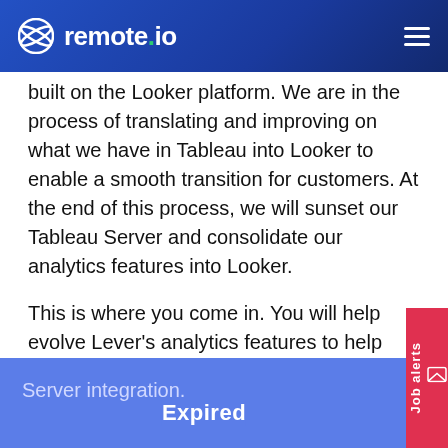remote.io
built on the Looker platform. We are in the process of translating and improving on what we have in Tableau into Looker to enable a smooth transition for customers. At the end of this process, we will sunset our Tableau Server and consolidate our analytics features into Looker.
This is where you come in. You will help evolve Lever's analytics features to help Lever's customers recruit more efficiently and more predictably. This position will focus on our Looker integration while helping maintain our Tableau Server integration.
Expired